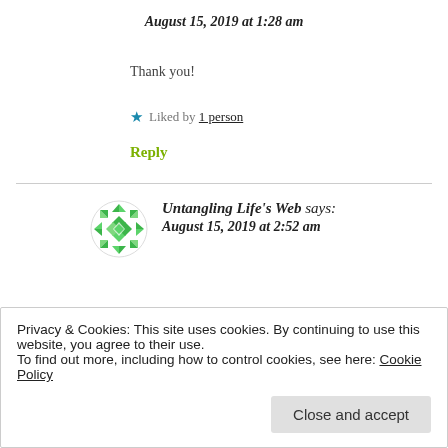August 15, 2019 at 1:28 am
Thank you!
★ Liked by 1 person
Reply
Untangling Life's Web says: August 15, 2019 at 2:52 am
Privacy & Cookies: This site uses cookies. By continuing to use this website, you agree to their use. To find out more, including how to control cookies, see here: Cookie Policy
Close and accept